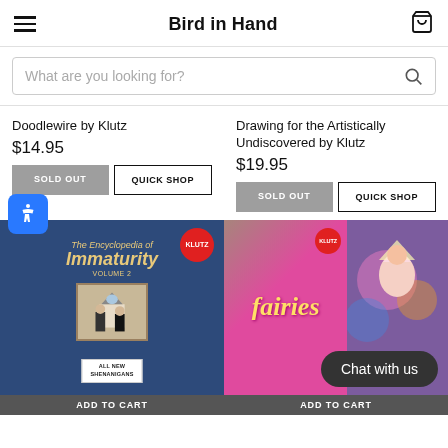Bird in Hand
What are you looking for?
Doodlewire by Klutz
$14.95
Drawing for the Artistically Undiscovered by Klutz
$19.95
[Figure (screenshot): Book cover: The Encyclopedia of Immaturity Volume 2, blue cover with gold italic title and American Gothic parody image]
[Figure (screenshot): Book cover: Fairies klutz book, pink and purple with fairy illustration and accessories]